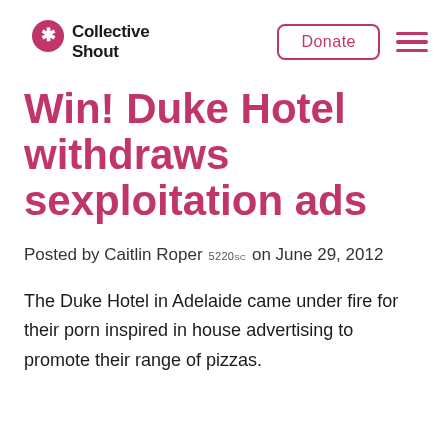Collective Shout
Win! Duke Hotel withdraws sexploitation ads
Posted by Caitlin Roper 5220sc on June 29, 2012
The Duke Hotel in Adelaide came under fire for their porn inspired in house advertising to promote their range of pizzas.